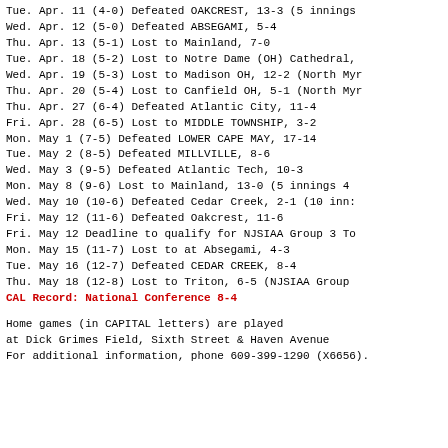Tue. Apr. 11    (4-0) Defeated OAKCREST, 13-3 (5 innings
Wed. Apr. 12    (5-0) Defeated ABSEGAMI, 5-4
Thu. Apr. 13    (5-1) Lost to Mainland, 7-0
Tue. Apr. 18    (5-2) Lost to Notre Dame (OH) Cathedral,
Wed. Apr. 19    (5-3) Lost to Madison OH, 12-2 (North Myr
Thu. Apr. 20    (5-4) Lost to Canfield OH, 5-1 (North Myr
Thu. Apr. 27    (6-4) Defeated Atlantic City, 11-4
Fri. Apr. 28    (6-5) Lost to MIDDLE TOWNSHIP, 3-2
Mon. May 1      (7-5) Defeated LOWER CAPE MAY, 17-14
Tue. May 2      (8-5) Defeated MILLVILLE, 8-6
Wed. May 3      (9-5) Defeated Atlantic Tech, 10-3
Mon. May 8      (9-6) Lost to Mainland, 13-0 (5 innings 4
Wed. May 10     (10-6) Defeated Cedar Creek, 2-1 (10 inn:
Fri. May 12     (11-6) Defeated Oakcrest, 11-6
Fri. May 12     Deadline to qualify for NJSIAA Group 3 To
Mon. May 15     (11-7) Lost to at Absegami, 4-3
Tue. May 16     (12-7) Defeated CEDAR CREEK, 8-4
Thu. May 18     (12-8) Lost to Triton, 6-5 (NJSIAA Group
CAL Record: National Conference 8-4
Home games (in CAPITAL letters) are played
at Dick Grimes Field, Sixth Street & Haven Avenue
For additional information, phone 609-399-1290 (X6656).